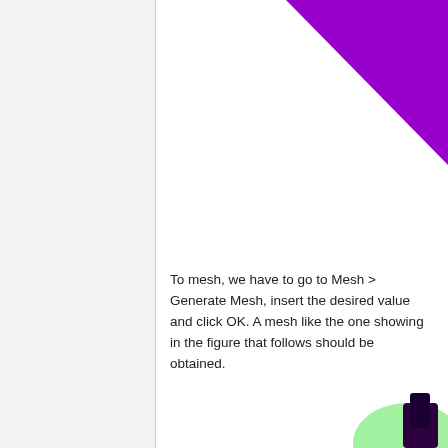[Figure (illustration): Purple triangle decorative graphic in top-right corner of page]
To mesh, we have to go to Mesh > Generate Mesh, insert the desired value and click OK. A mesh like the one showing in the figure that follows should be obtained.
[Figure (illustration): Partial view of mesh/software screenshot in bottom-right corner with green and dark purple colors]